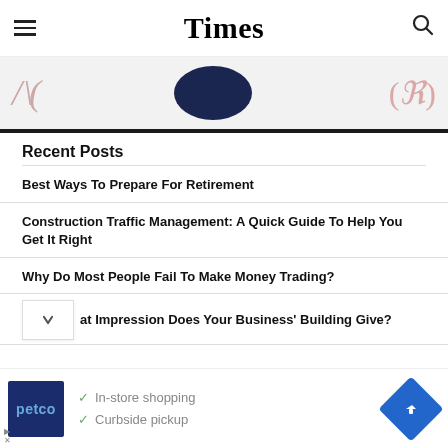Times
[Figure (screenshot): Partial banner image showing decorative script text on left, dark navy oval/circle in center, and red decorative figures on right, on light gray background]
Recent Posts
Best Ways To Prepare For Retirement
Construction Traffic Management: A Quick Guide To Help You Get It Right
Why Do Most People Fail To Make Money Trading?
at Impression Does Your Business' Building Give?
[Figure (screenshot): Petco advertisement banner with logo, In-store shopping and Curbside pickup checkmarks, and blue navigation arrow icon]